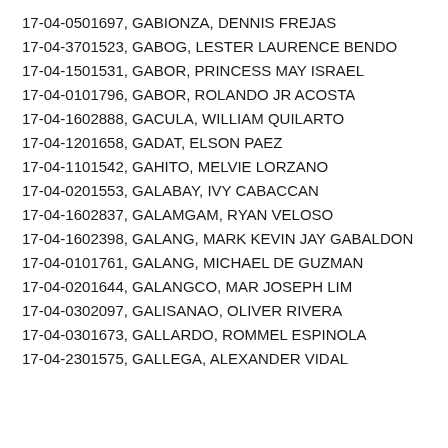17-04-0501697, GABIONZA, DENNIS FREJAS
17-04-3701523, GABOG, LESTER LAURENCE BENDO
17-04-1501531, GABOR, PRINCESS MAY ISRAEL
17-04-0101796, GABOR, ROLANDO JR ACOSTA
17-04-1602888, GACULA, WILLIAM QUILARTO
17-04-1201658, GADAT, ELSON PAEZ
17-04-1101542, GAHITO, MELVIE LORZANO
17-04-0201553, GALABAY, IVY CABACCAN
17-04-1602837, GALAMGAM, RYAN VELOSO
17-04-1602398, GALANG, MARK KEVIN JAY GABALDON
17-04-0101761, GALANG, MICHAEL DE GUZMAN
17-04-0201644, GALANGCO, MAR JOSEPH LIM
17-04-0302097, GALISANAO, OLIVER RIVERA
17-04-0301673, GALLARDO, ROMMEL ESPINOLA
17-04-2301575, GALLEGA, ALEXANDER VIDAL